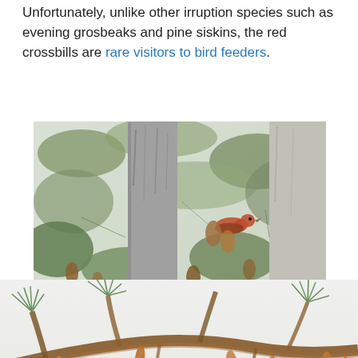Unfortunately, unlike other irruption species such as evening grosbeaks and pine siskins, the red crossbills are rare visitors to bird feeders.
[Figure (photo): A red crossbill bird perched among pine tree branches and pine cones, photographed in a natural forest setting.]
[Figure (photo): Close-up of pine tree branches with pine cones and needles, with a small bird visible at the bottom of the frame.]